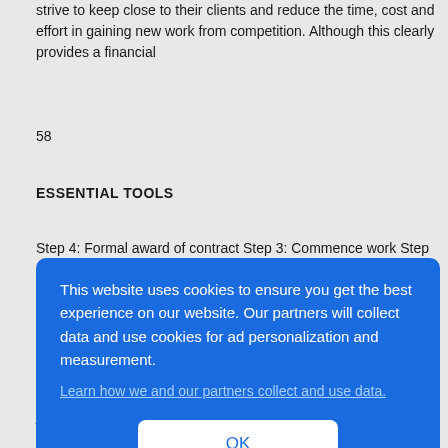strive to keep close to their clients and reduce the time, cost and effort in gaining new work from competition. Although this clearly provides a financial
58
ESSENTIAL TOOLS
Step 4: Formal award of contract Step 3: Commence work Step 2:
[Figure (screenshot): Cookie consent overlay with blue background. Text reads: 'This website uses cookies to ensure you get the best experience on our website. Our partners will collect data and use cookies for ad personalization and measurement.' A link reads 'Learn how we and our partners collect and use data.' An OK button is shown below.]
job; it also, over time, dilutes the consultant's independence by being